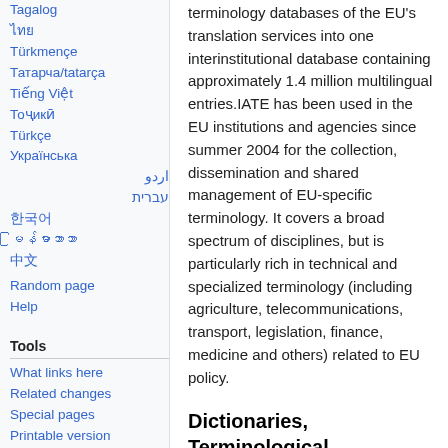Tagalog
ไทย
Türkmençe
Татарча/tatarça
Tiếng Việt
Тоҷикӣ
Türkçe
Українська
اردو
עברית
한국어
မြန်မာဘာသာ
中文
Random page
Help
Tools
What links here
Related changes
Special pages
Printable version
Permanent link
Page information
terminology databases of the EU's translation services into one interinstitutional database containing approximately 1.4 million multilingual entries.IATE has been used in the EU institutions and agencies since summer 2004 for the collection, dissemination and shared management of EU-specific terminology. It covers a broad spectrum of disciplines, but is particularly rich in technical and specialized terminology (including agriculture, telecommunications, transport, legislation, finance, medicine and others) related to EU policy.
Dictionaries, Terminological Glossaries and Text Corpora
TransEdit dictionary links to online dictionaries (English and otherwise),